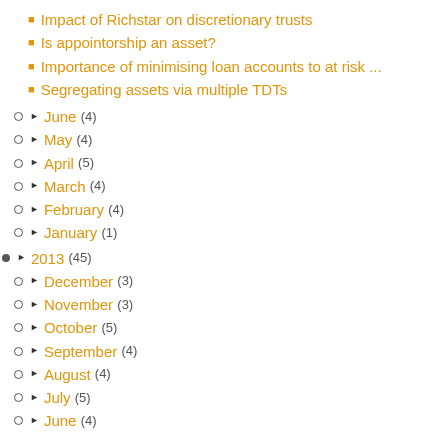Impact of Richstar on discretionary trusts
Is appointorship an asset?
Importance of minimising loan accounts to at risk ...
Segregating assets via multiple TDTs
June (4)
May (4)
April (5)
March (4)
February (4)
January (1)
2013 (45)
December (3)
November (3)
October (5)
September (4)
August (4)
July (5)
June (4)